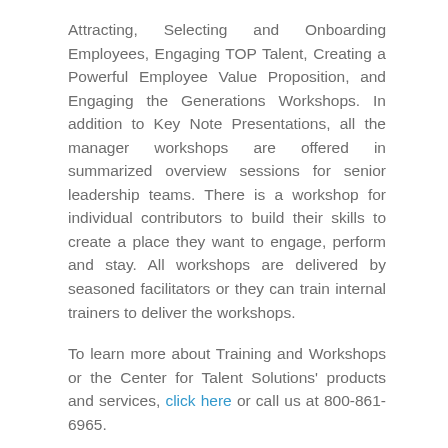Attracting, Selecting and Onboarding Employees, Engaging TOP Talent, Creating a Powerful Employee Value Proposition, and Engaging the Generations Workshops. In addition to Key Note Presentations, all the manager workshops are offered in summarized overview sessions for senior leadership teams. There is a workshop for individual contributors to build their skills to create a place they want to engage, perform and stay. All workshops are delivered by seasoned facilitators or they can train internal trainers to deliver the workshops.
To learn more about Training and Workshops or the Center for Talent Solutions' products and services, click here or call us at 800-861-6965.
ABOUT THE CENTER FOR TALENT SOLUTIONS
The Center for Talent Solutions, with operating business units Center for Talent Retention, Center for Talent Management, Center for Diverse Talent, and